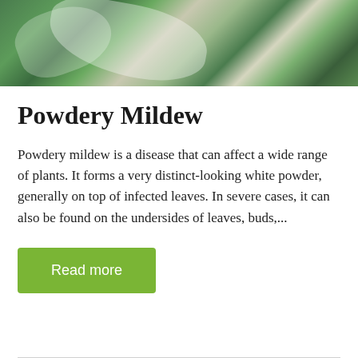[Figure (photo): Close-up photograph of green plant leaves heavily covered with white powdery mildew fungal coating]
Powdery Mildew
Powdery mildew is a disease that can affect a wide range of plants. It forms a very distinct-looking white powder, generally on top of infected leaves. In severe cases, it can also be found on the undersides of leaves, buds,...
Read more